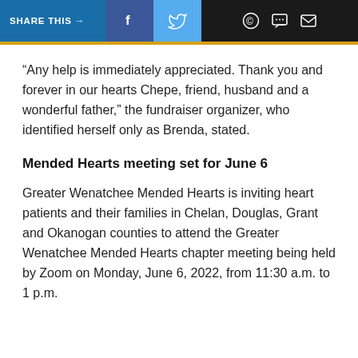SHARE THIS →  f  🐦  ©  💬  ✉
“Any help is immediately appreciated. Thank you and forever in our hearts Chepe, friend, husband and a wonderful father,” the fundraiser organizer, who identified herself only as Brenda, stated.
Mended Hearts meeting set for June 6
Greater Wenatchee Mended Hearts is inviting heart patients and their families in Chelan, Douglas, Grant and Okanogan counties to attend the Greater Wenatchee Mended Hearts chapter meeting being held by Zoom on Monday, June 6, 2022, from 11:30 a.m. to 1 p.m.